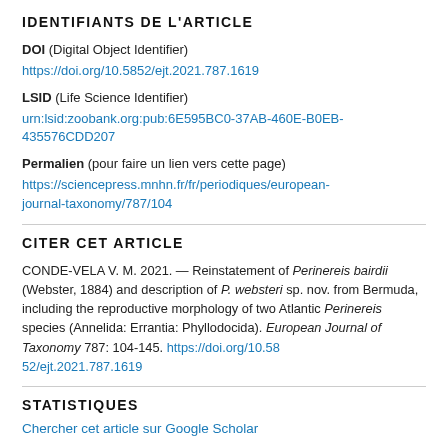IDENTIFIANTS DE L'ARTICLE
DOI (Digital Object Identifier)
https://doi.org/10.5852/ejt.2021.787.1619
LSID (Life Science Identifier)
urn:lsid:zoobank.org:pub:6E595BC0-37AB-460E-B0EB-435576CDD207
Permalien (pour faire un lien vers cette page)
https://sciencepress.mnhn.fr/fr/periodiques/european-journal-taxonomy/787/104
CITER CET ARTICLE
CONDE-VELA V. M. 2021. — Reinstatement of Perinereis bairdii (Webster, 1884) and description of P. websteri sp. nov. from Bermuda, including the reproductive morphology of two Atlantic Perinereis species (Annelida: Errantia: Phyllodocida). European Journal of Taxonomy 787: 104-145. https://doi.org/10.5852/ejt.2021.787.1619
STATISTIQUES
Chercher cet article sur Google Scholar